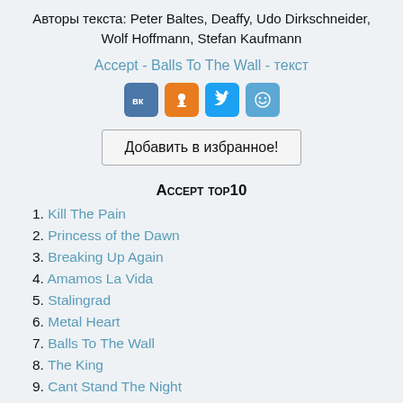Авторы текста: Peter Baltes, Deaffy, Udo Dirkschneider, Wolf Hoffmann, Stefan Kaufmann
Accept - Balls To The Wall - текст
[Figure (other): Social share icons: VK, Odnoklassniki, Twitter, and a smiley/mirtesen icon]
Добавить в избранное!
Accept top10
1. Kill The Pain
2. Princess of the Dawn
3. Breaking Up Again
4. Amamos La Vida
5. Stalingrad
6. Metal Heart
7. Balls To The Wall
8. The King
9. Cant Stand The Night
10. Shadow Soldiers